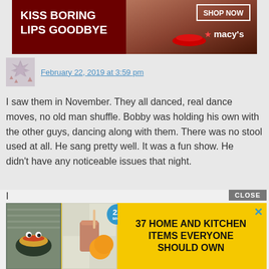[Figure (photo): Advertisement banner for Macy's lipstick promotion with text 'KISS BORING LIPS GOODBYE', a woman's face with red lips, 'SHOP NOW' button, and Macy's star logo]
February 22, 2019 at 3:59 pm
I saw them in November. They all danced, real dance moves, no old man shuffle. Bobby was holding his own with the other guys, dancing along with them. There was no stool used at all. He sang pretty well. It was a fun show. He didn't have any noticeable issues that night.
His behavior on the View makes me sad. I suspect Bobby has fallen off the sobriety wagon. His past issues were drug related, not just alcohol.
[Figure (screenshot): Advertisement overlay with yellow background showing '37 HOME AND KITCHEN ITEMS EVERYONE SHOULD OWN' with food/kitchen images and a '22 seconds' badge and close X button. CLOSE button visible at top right.]